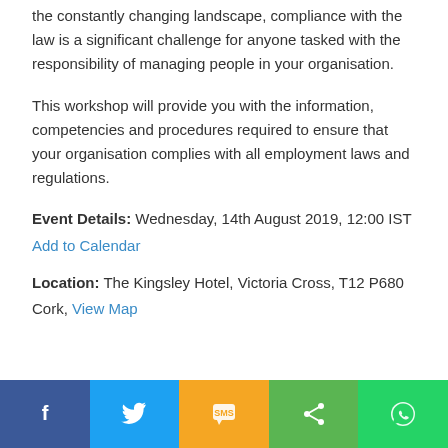the constantly changing landscape, compliance with the law is a significant challenge for anyone tasked with the responsibility of managing people in your organisation.
This workshop will provide you with the information, competencies and procedures required to ensure that your organisation complies with all employment laws and regulations.
Event Details: Wednesday, 14th August 2019, 12:00 IST
Add to Calendar
Location: The Kingsley Hotel, Victoria Cross, T12 P680 Cork, View Map
[Figure (infographic): Social sharing bar with Facebook, Twitter, SMS, Share, and WhatsApp buttons]